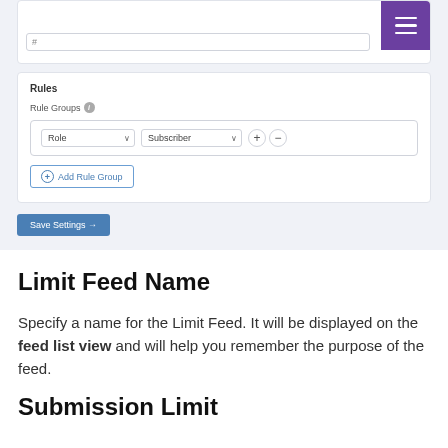[Figure (screenshot): UI screenshot showing a form card with a hamburger menu button (purple), an input field with placeholder '#', a Rules card with Rule Groups label and info icon, a rule row containing 'Role' and 'Subscriber' dropdowns with plus/minus buttons, an 'Add Rule Group' button, and a 'Save Settings →' button.]
Limit Feed Name
Specify a name for the Limit Feed. It will be displayed on the feed list view and will help you remember the purpose of the feed.
Submission Limit